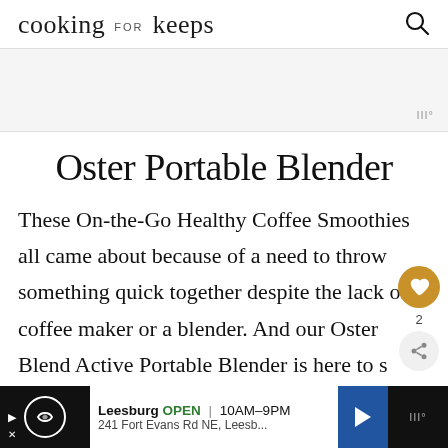cooking for keeps
[Figure (other): Gray advertisement banner area with small 'III°' badge in bottom right corner]
Oster Portable Blender
These On-the-Go Healthy Coffee Smoothies all came about because of a need to throw something quick together despite the lack of a coffee maker or a blender. And our Oster Blend Active Portable Blender is here to save the day.
[Figure (other): Bottom advertisement bar: Leesburg OPEN 10AM-9PM, 241 Fort Evans Rd NE, Leesb... with navigation arrow icon]